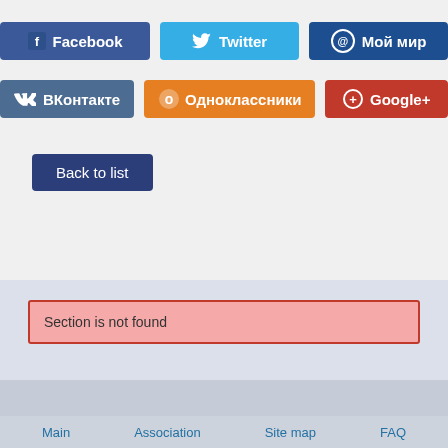[Figure (other): Social media share buttons row 1: Facebook (blue), Twitter (cyan), Мой мир (dark blue)]
[Figure (other): Social media share buttons row 2: ВКонтакте (blue-grey), Одноклассники (orange), Google+ (red)]
Back to list
Section is not found
Main   Association   Site map   FAQ